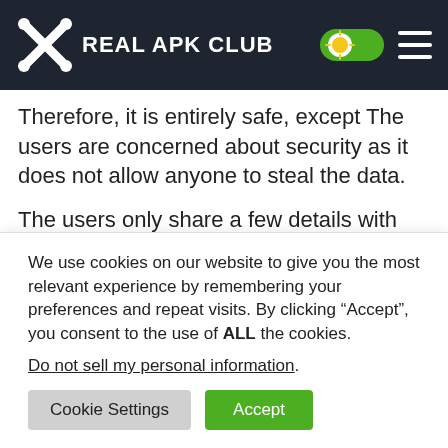REAL APK CLUB
Therefore, it is entirely safe, except The users are concerned about security as it does not allow anyone to steal the data.
The users only share a few details with others in the app, including the user's country and name. Even though Azar Apk does not share the user's email, number, and date of birth with the other people who connected with them. Moreover, you can protect the location of the…
We use cookies on our website to give you the most relevant experience by remembering your preferences and repeat visits. By clicking “Accept”, you consent to the use of ALL the cookies.
Do not sell my personal information.